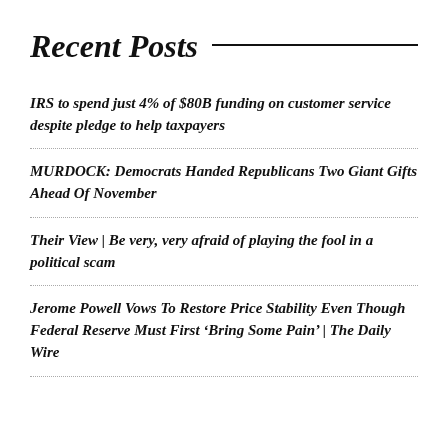Recent Posts
IRS to spend just 4% of $80B funding on customer service despite pledge to help taxpayers
MURDOCK: Democrats Handed Republicans Two Giant Gifts Ahead Of November
Their View | Be very, very afraid of playing the fool in a political scam
Jerome Powell Vows To Restore Price Stability Even Though Federal Reserve Must First ‘Bring Some Pain’ | The Daily Wire